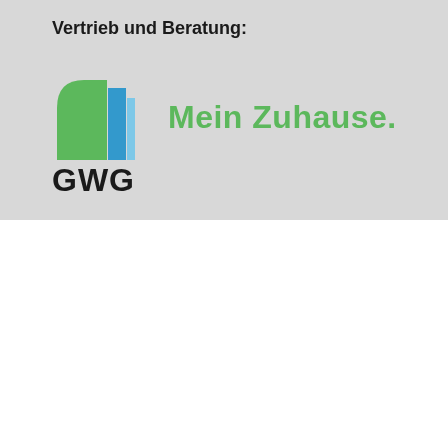Vertrieb und Beratung:
[Figure (logo): GWG logo with green house shape, blue vertical rectangle, and text 'GWG Mein Zuhause.']
Wir verwenden Cookies auf unserer Website, um Ihnen die bestmögliche Erfahrung zu bieten, indem wir uns an Ihre Präferenzen und wiederholten Besuche erinnern. Wenn Sie auf "Alle akzeptieren" klicken, erklären Sie sich mit der Verwendung ALLER Cookies einverstanden. Sie können jedoch die "Cookie-Einstellungen" besuchen, um eine kontrollierte Zustimmung zu erteilen.
Cookie-Einstellungen
Alle akzeptieren